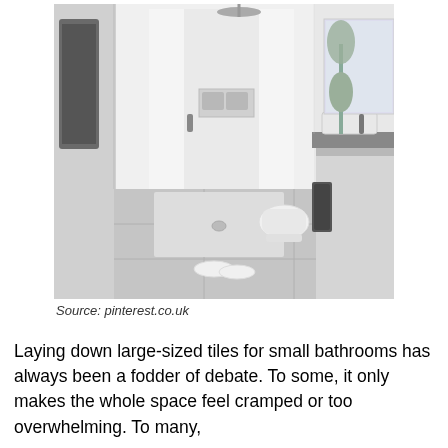[Figure (photo): Modern minimalist bathroom interior in grayscale/monochrome tones. Features large light-grey floor tiles, a walk-in shower area with a rain shower head and built-in niche shelf, a wall-mounted toilet, a floating vanity unit with a rectangular basin, a mirror, a tall plant, dark towels, and white slippers on the floor.]
Source: pinterest.co.uk
Laying down large-sized tiles for small bathrooms has always been a fodder of debate. To some, it only makes the whole space feel cramped or too overwhelming. To many,